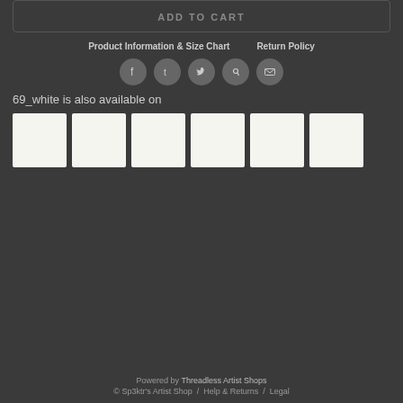ADD TO CART
Product Information & Size Chart
Return Policy
[Figure (infographic): Social media share icons: Facebook, Tumblr, Twitter, Pinterest, Email — circular dark grey buttons]
69_white is also available on
[Figure (photo): Six white/light product thumbnail images in a row]
Powered by Threadless Artist Shops
© Sp3ktr's Artist Shop / Help & Returns / Legal